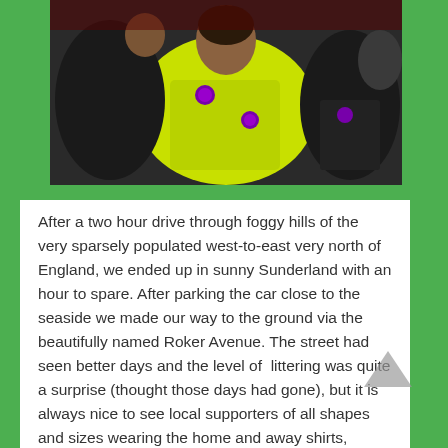[Figure (photo): Close-up photo of football players in yellow/neon green and dark jerseys with Premier League badges, celebrating or grouped together]
After a two hour drive through foggy hills of the very sparsely populated west-to-east very north of England, we ended up in sunny Sunderland with an hour to spare. After parking the car close to the seaside we made our way to the ground via the beautifully named Roker Avenue. The street had seen better days and the level of  littering was quite a surprise (thought those days had gone), but it is always nice to see local supporters of all shapes and sizes wearing the home and away shirts, slowly making their way to the ground.